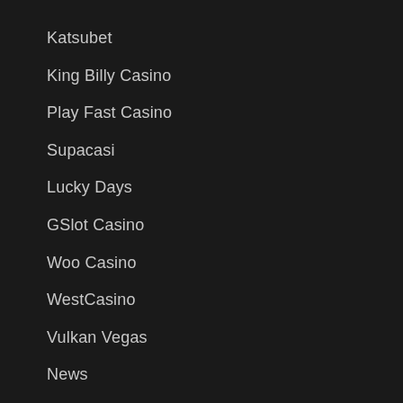Katsubet
King Billy Casino
Play Fast Casino
Supacasi
Lucky Days
GSlot Casino
Woo Casino
WestCasino
Vulkan Vegas
News